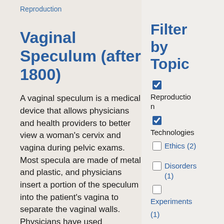Reproduction
Vaginal Speculum (after 1800)
A vaginal speculum is a medical device that allows physicians and health providers to better view a woman's cervix and vagina during pelvic exams. Most specula are made of metal and plastic, and physicians insert a portion of the speculum into the patient's vagina to separate the vaginal walls. Physicians have used
Filter by Topic
Reproduction (checked)
Technologies (checked)
Ethics (2)
Disorders (1)
Experiments (1)